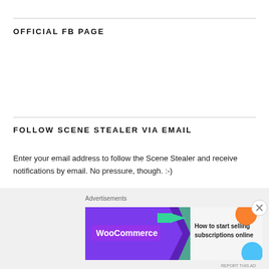OFFICIAL FB PAGE
FOLLOW SCENE STEALER VIA EMAIL
Enter your email address to follow the Scene Stealer and receive notifications by email. No pressure, though. :-)
Enter your email address
[Figure (screenshot): WooCommerce advertisement banner: 'How to start selling subscriptions online']
Advertisements